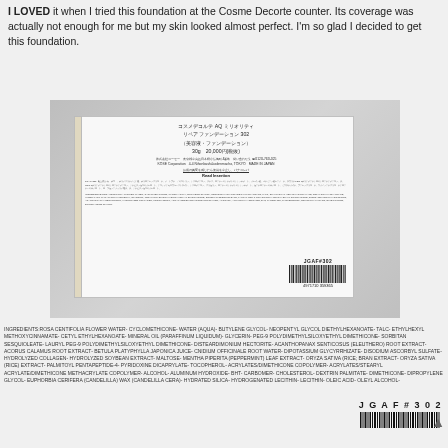I LOVED it when I tried this foundation at the Cosme Decorte counter. Its coverage was actually not enough for me but my skin looked almost perfect. I'm so glad I decided to get this foundation.
[Figure (photo): Product box of Cosme Decorte AQ Meliority Repair Foundation 302, showing Japanese text, KOSE Corporation label, ingredient list in Japanese and English, barcode JGAF#302, number 4971710 359365]
INGREDIENTS:ROSA CENTIFOLIA FLOWER WATER- CYCLOMETHICONE- WATER (AQUA)- BUTYLENE GLYCOL- NEOPENTYL GLYCOL DIETHYLHEXANOATE- TALC- ETHYLHEXYL METHOXYCINNAMATE- CETYL ETHYLHEXANOATE- MINERAL OIL (PARAFFINUM LIQUIDUM)- GLYCERIN- PEG-9 POLYDIMETHYLSILOXYETHYL DIMETHICONE- SORBITAN SESQUIOLEATE- LAURYL PEG-9 POLYDIMETHYLSILOXYETHYL DIMETHICONE- DISTEARDIMONIUM HECTORITE- ACANTHOPANAX SENTICOSUS (ELEUTHERO) ROOT EXTRACT- ACORUS CALAMUS ROOT EXTRACT- BETULA PLATYPHYLLA JAPONICA JUICE- CNIDIUM OFFICINALE ROOT WATER- DIPOTASSIUM GLYCYRRHIZATE- DISODIUM ASCORBYL SULFATE- HYDROLYZED COLLAGEN- HYDROLYZED SOYBEAN EXTRACT- MALTOSE- MENTHA PIPERITA (PEPPERMINT) LEAF EXTRACT- ORYZA SATIVA (RICE; BRAN EXTRACT- ORYZA SATIVA (RICE) EXTRACT- PALMITOYL PENTAPEPTIDE-4- PYRIDOXINE DICAPRYLATE- TOCOPHEROL- ACRYLATES/DIMETHICONE COPOLYMER- ACRYLATES/STEARYL ACRYLATE/DIMETHICONE METHACRYLATE COPOLYMER- ALCOHOL- ALUMINUM HYDROXIDE- BHT- CARBOMER- CHOLESTEROL- DEXTRIN PALMITATE- DIMETHICONE- DIPROPYLENE GLYCOL- EUPHORBIA CERIFERA (CANDELILLA) WAX (CANDELILLA CERA)- HYDRATED SILICA- HYDROGENATED LECITHIN- LECITHIN- OLEIC ACID- OLEYL ALCOHOL-
JGAF#302